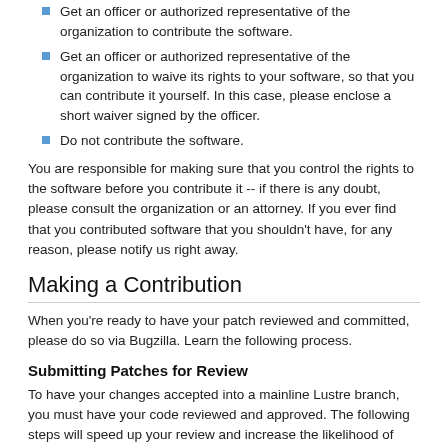Get an officer or authorized representative of the organization to contribute the software.
Get an officer or authorized representative of the organization to waive its rights to your software, so that you can contribute it yourself. In this case, please enclose a short waiver signed by the officer.
Do not contribute the software.
You are responsible for making sure that you control the rights to the software before you contribute it -- if there is any doubt, please consult the organization or an attorney. If you ever find that you contributed software that you shouldn't have, for any reason, please notify us right away.
Making a Contribution
When you're ready to have your patch reviewed and committed, please do so via Bugzilla. Learn the following process.
Submitting Patches for Review
To have your changes accepted into a mainline Lustre branch, you must have your code reviewed and approved. The following steps will speed up your review and increase the likelihood of success:
1. Read, complete, and return the form found at Lustre Contribution Agreement. We can't accept your contributions without it.
2. Generate a patch with the "-upN" flags to diff or cvs diff. Please don't